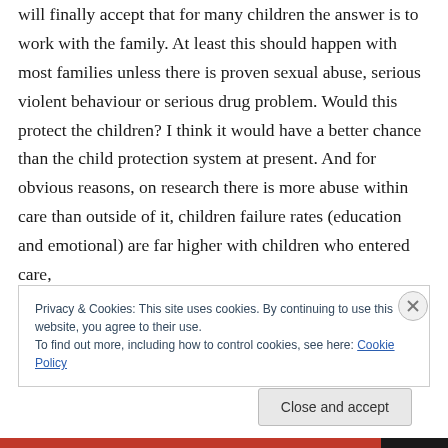will finally accept that for many children the answer is to work with the family. At least this should happen with most families unless there is proven sexual abuse, serious violent behaviour or serious drug problem. Would this protect the children? I think it would have a better chance than the child protection system at present. And for obvious reasons, on research there is more abuse within care than outside of it, children failure rates (education and emotional) are far higher with children who entered care,
Privacy & Cookies: This site uses cookies. By continuing to use this website, you agree to their use. To find out more, including how to control cookies, see here: Cookie Policy
Close and accept